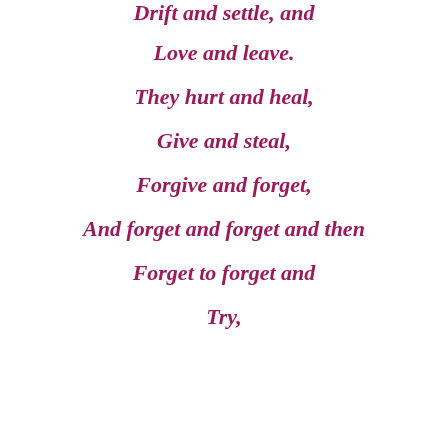Drift and settle, and
Love and leave.
They hurt and heal,
Give and steal,
Forgive and forget,
And forget and forget and then
Forget to forget and
Try,